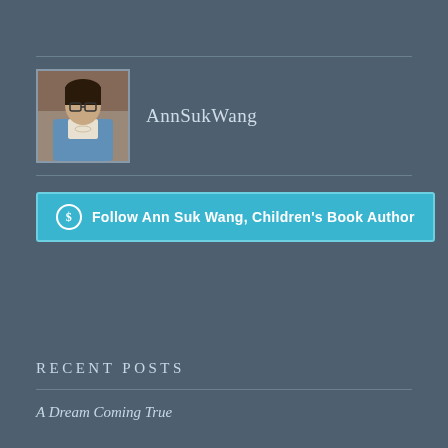[Figure (photo): Profile avatar photo of Ann Suk Wang, a woman with glasses]
AnnSukWang
[Figure (screenshot): WordPress Follow button: Follow Ann Suk Wang, Children's Book Author]
RECENT POSTS
A Dream Coming True